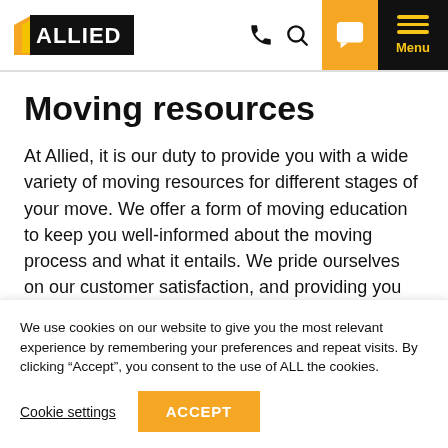Allied logo, phone icon, search icon, chat button, Menu button
Moving resources
At Allied, it is our duty to provide you with a wide variety of moving resources for different stages of your move. We offer a form of moving education to keep you well-informed about the moving process and what it entails. We pride ourselves on our customer satisfaction, and providing you with many moving resources and offering a moving education is
We use cookies on our website to give you the most relevant experience by remembering your preferences and repeat visits. By clicking “Accept”, you consent to the use of ALL the cookies.
Cookie settings  ACCEPT